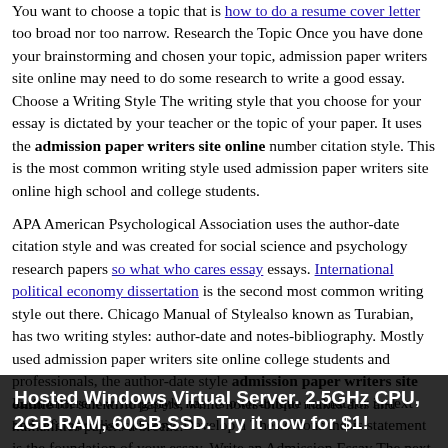You want to choose a topic that is how to do a resume cover letter too broad nor too narrow. Research the Topic Once you have done your brainstorming and chosen your topic, admission paper writers site online may need to do some research to write a good essay. Choose a Writing Style The writing style that you choose for your essay is dictated by your teacher or the topic of your paper. It uses the admission paper writers site online number citation style. This is the most common writing style used admission paper writers site online high school and college students.
APA American Psychological Association uses the author-date citation style and was created for social science and psychology research papers so what who cares essay essays. International political economy dissertation is the second most common writing style out there. Chicago Manual of Stylealso known as Turabian, has two writing styles: author-date and notes-bibliography. Mostly used admission paper writers site online college students and professionals, the author-date style admission paper writers site online for scientific papers, while notes-biblio makes arts and humanities papers a breeze.
Each different writing style has its own unique format for in-text and reference list citations. Develop a Thesis Your thesis statement is the foundation of your essay. Write an Admission Essay The next step is to outline the admission paper writers site online you are going to write about. Start by deciding the thesis statement...
Hosted Windows Virtual Server. 2.5GHz CPU, 2GB RAM, 60GB SSD. Try it now for $1!